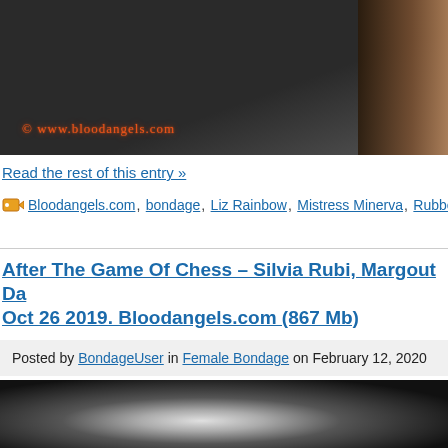[Figure (photo): Dark dungeon-style photo with watermark text '© www.bloodangels.com' in orange decorative font at bottom left, partially visible arm/body on right side]
Read the rest of this entry »
Bloodangels.com, bondage, Liz Rainbow, Mistress Minerva, Rubber,
After The Game Of Chess – Silvia Rubi, Margout Da Oct 26 2019. Bloodangels.com (867 Mb)
Posted by BondageUser in Female Bondage on February 12, 2020
[Figure (photo): Dark image with glowing white/blue light, partially visible]